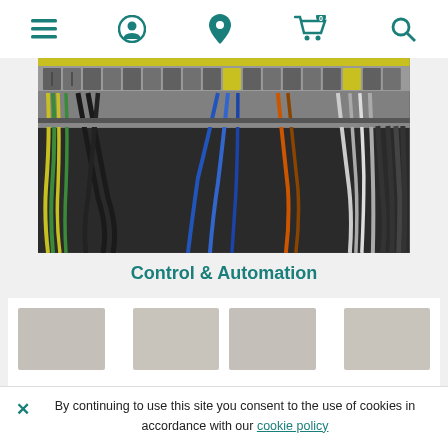Navigation bar with menu, user, location, cart (0), and search icons
[Figure (photo): Close-up photograph of industrial control panel wiring — dense colorful wires (yellow, green, blue, black, white) connected to terminal blocks and DIN rail components]
Control & Automation
[Figure (other): Row of product category thumbnail images (placeholder/loading state shown as grey boxes)]
By continuing to use this site you consent to the use of cookies in accordance with our cookie policy